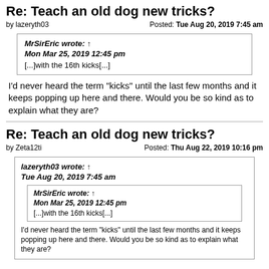Re: Teach an old dog new tricks?
by lazeryth03   Posted: Tue Aug 20, 2019 7:45 am
MrSirEric wrote: ↑
Mon Mar 25, 2019 12:45 pm
[...]with the 16th kicks[...]
I'd never heard the term "kicks" until the last few months and it keeps popping up here and there. Would you be so kind as to explain what they are?
Re: Teach an old dog new tricks?
by Zeta12ti   Posted: Thu Aug 22, 2019 10:16 pm
lazeryth03 wrote: ↑
Tue Aug 20, 2019 7:45 am
MrSirEric wrote: ↑
Mon Mar 25, 2019 12:45 pm
[...]with the 16th kicks[...]
I'd never heard the term "kicks" until the last few months and it keeps popping up here and there. Would you be so kind as to explain what they are?